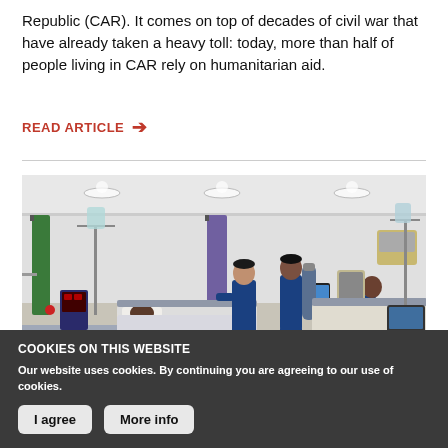Republic (CAR). It comes on top of decades of civil war that have already taken a heavy toll: today, more than half of people living in CAR rely on humanitarian aid.
READ ARTICLE →
[Figure (photo): Hospital ward scene showing medical staff in blue scrubs attending to patients in beds in a white-walled room with medical equipment.]
COOKIES ON THIS WEBSITE
Our website uses cookies. By continuing you are agreeing to our use of cookies.
I agree | More info